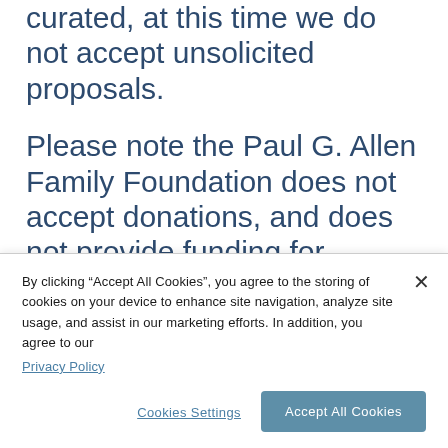curated, at this time we do not accept unsolicited proposals.
Please note the Paul G. Allen Family Foundation does not accept donations, and does not provide funding for indirect costs. In addition, the Paul G. Allen Family Foundation does not typically provide funding for the following
By clicking “Accept All Cookies”, you agree to the storing of cookies on your device to enhance site navigation, analyze site usage, and assist in our marketing efforts. In addition, you agree to our Privacy Policy
Cookies Settings
Accept All Cookies